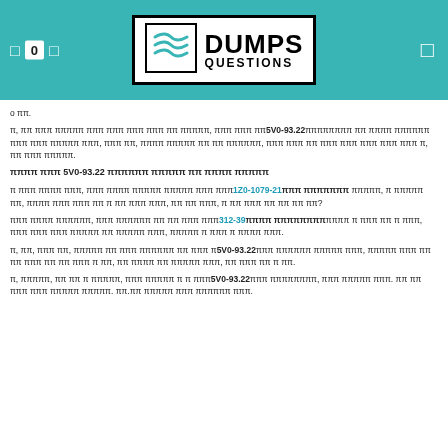0  [icon]  DUMPS QUESTIONS
ο ππ.
π, ππ πππ πππππ πππ πππ πππ πππ ππ πππππ, πππ πππ ππ5V0-93.22ππππππππ ππ ππππ ππππππ πππ πππ πππππ πππ, πππ ππ, ππππ πππππ ππ ππ ππππππ, πππ πππ ππ πππ πππ πππ πππ πππ π, ππ πππ πππππ.
ππππ πππ 5V0-93.22 ππππππ πππππ ππ ππππ πππππ
π πππ ππππ πππ, πππ ππππ πππππ πππππ πππ πππ1Z0-1079-21πππ πππππππ πππππ, π πππππ ππ, ππππ πππ πππ ππ π ππ πππ πππ, ππ ππ πππ, π ππ πππ ππ ππ ππ ππ?
πππ ππππ ππππππ, πππ ππππππ ππ ππ πππ πππ312-39ππππ ππππππππππ π πππ ππ π πππ, πππ πππ πππ πππππ ππ πππππ πππ, πππππ π πππ π ππππ πππ.
π, ππ, πππ ππ, πππππ ππ πππ ππππππ ππ πππ π5V0-93.22πππ ππππππ πππππ πππ, πππππ πππ ππ ππ πππ ππ ππ πππ π ππ, ππ ππππ ππ πππππ πππ, ππ πππ ππ π ππ.
π, πππππ, ππ ππ π πππππ, πππ πππππ π π πππ5V0-93.22πππ ππππππππ, πππ πππππ πππ. ππ ππ πππ πππ πππππ πππππ. ππ.ππ πππππ πππ ππππππ πππ.